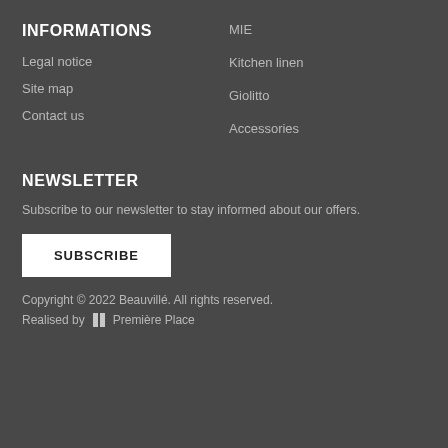INFORMATIONS
Legal notice
Site map
Contact us
MIE
Kitchen linen
Giolitto
Accessories
NEWSLETTER
Subscribe to our newsletter to stay informed about our offers.
SUBSCRIBE
Copyright © 2022 Beauvillé. All rights reserved.
Realised by  Première Place